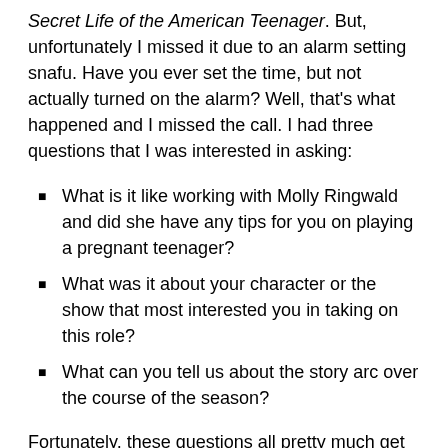Secret Life of the American Teenager. But, unfortunately I missed it due to an alarm setting snafu. Have you ever set the time, but not actually turned on the alarm? Well, that's what happened and I missed the call. I had three questions that I was interested in asking:
What is it like working with Molly Ringwald and did she have any tips for you on playing a pregnant teenager?
What was it about your character or the show that most interested you in taking on this role?
What can you tell us about the story arc over the course of the season?
Fortunately, these questions all pretty much get asked and answered and they were kind enough to send over the transcript. So, below is the full transcript of the interview with Shailene Woodley — part of the thanks for doing this